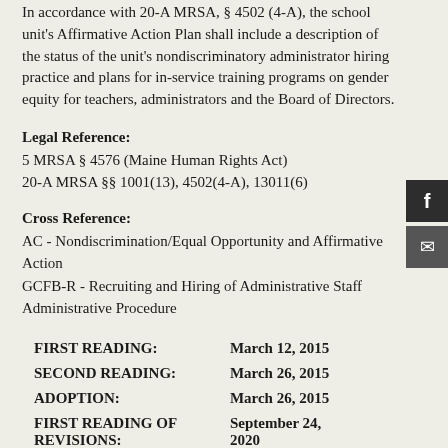In accordance with 20-A MRSA, § 4502 (4-A), the school unit's Affirmative Action Plan shall include a description of the status of the unit's nondiscriminatory administrator hiring practice and plans for in-service training programs on gender equity for teachers, administrators and the Board of Directors.
Legal Reference:
5 MRSA § 4576 (Maine Human Rights Act)
20-A MRSA §§ 1001(13), 4502(4-A), 13011(6)
Cross Reference:
AC - Nondiscrimination/Equal Opportunity and Affirmative Action
GCFB-R - Recruiting and Hiring of Administrative Staff Administrative Procedure
|  |  |
| --- | --- |
| FIRST READING: | March 12, 2015 |
| SECOND READING: | March 26, 2015 |
| ADOPTION: | March 26, 2015 |
| FIRST READING OF REVISIONS: | September 24, 2020 |